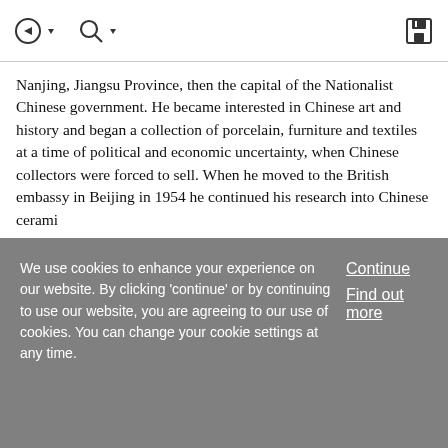[Navigation icons: back arrow with dropdown, search with dropdown, save/floppy disk icon]
Nanjing, Jiangsu Province, then the capital of the Nationalist Chinese government. He became interested in Chinese art and history and began a collection of porcelain, furniture and textiles at a time of political and economic uncertainty, when Chinese collectors were forced to sell. When he moved to the British embassy in Beijing in 1954 he continued his research into Chinese cerami
... Show More
Article
We use cookies to enhance your experience on our website. By clicking 'continue' or by continuing to use our website, you are agreeing to our use of cookies. You can change your cookie settings at any time.
Continue
Find out more